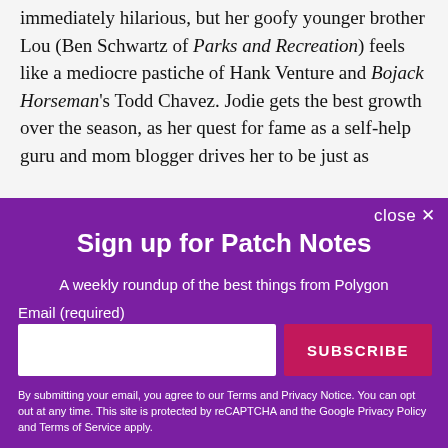immediately hilarious, but her goofy younger brother Lou (Ben Schwartz of Parks and Recreation) feels like a mediocre pastiche of Hank Venture and Bojack Horseman's Todd Chavez. Jodie gets the best growth over the season, as her quest for fame as a self-help guru and mom blogger drives her to be just as
Sign up for Patch Notes
A weekly roundup of the best things from Polygon
Email (required)
SUBSCRIBE
By submitting your email, you agree to our Terms and Privacy Notice. You can opt out at any time. This site is protected by reCAPTCHA and the Google Privacy Policy and Terms of Service apply.